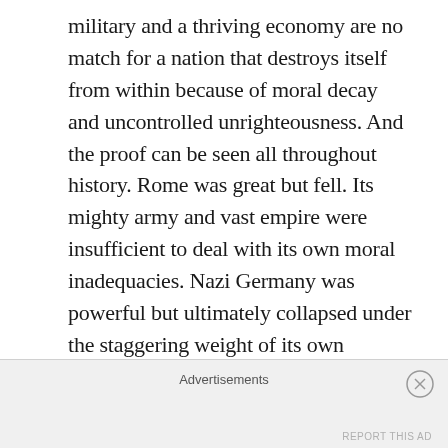military and a thriving economy are no match for a nation that destroys itself from within because of moral decay and uncontrolled unrighteousness. And the proof can be seen all throughout history. Rome was great but fell. Its mighty army and vast empire were insufficient to deal with its own moral inadequacies. Nazi Germany was powerful but ultimately collapsed under the staggering weight of its own decadence and godlessness. Nation after nation has experienced an ignominious end due to their rejection of God and a growing love affair with sin.

There is no doubt that a godly leader would be the better choice for a nation, but without a godly people to
Advertisements